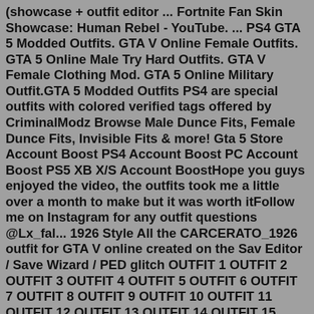(showcase + outfit editor ... Fortnite Fan Skin Showcase: Human Rebel - YouTube. ... PS4 GTA 5 Modded Outfits. GTA V Online Female Outfits. GTA 5 Online Male Try Hard Outfits. GTA V Female Clothing Mod. GTA 5 Online Military Outfit.GTA 5 Modded Outfits PS4 are special outfits with colored verified tags offered by CriminalModz Browse Male Dunce Fits, Female Dunce Fits, Invisible Fits & more! Gta 5 Store Account Boost PS4 Account Boost PC Account Boost PS5 XB X/S Account BoostHope you guys enjoyed the video, the outfits took me a little over a month to make but it was worth itFollow me on Instagram for any outfit questions @Lx_fal... 1926 Style All the CARCERATO_1926 outfit for GTA V online created on the Sav Editor / Save Wizard / PED glitch OUTFIT 1 OUTFIT 2 OUTFIT 3 OUTFIT 4 OUTFIT 5 OUTFIT 6 OUTFIT 7 OUTFIT 8 OUTFIT 9 OUTFIT 10 OUTFIT 11 OUTFIT 12 OUTFIT 13 OUTFIT 14 OUTFIT 15 OUTFIT 16 OUTFIT 17… May 23, 2016 · This is an outfit pack for the Menyoo